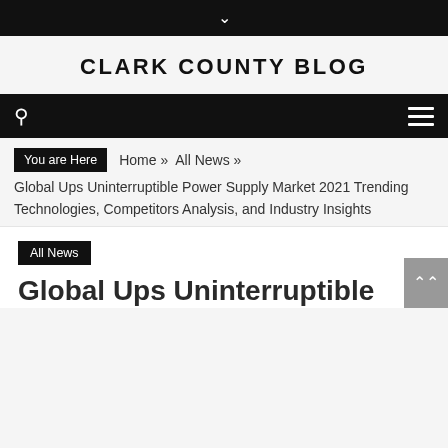CLARK COUNTY BLOG
You are Here  Home »  All News »  Global Ups Uninterruptible Power Supply Market 2021 Trending Technologies, Competitors Analysis, and Industry Insights
All News
Global Ups Uninterruptible